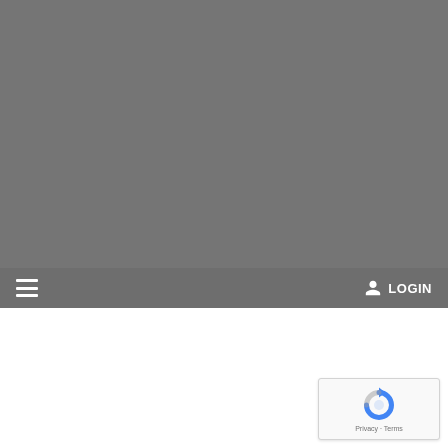[Figure (screenshot): Gray background area taking up upper portion of the page, representing a web page header/content area]
LOGIN
[Figure (logo): reCAPTCHA widget with circular arrow logo and Privacy - Terms text at bottom]